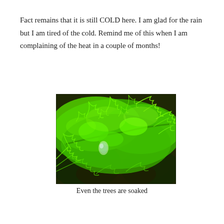Fact remains that it is still COLD here. I am glad for the rain but I am tired of the cold. Remind me of this when I am complaining of the heat in a couple of months!
[Figure (photo): Close-up macro photograph of bright vivid green moss or fern-like foliage with feathery fronds, with a water droplet visible, suggesting rain. Dark brown stems visible beneath the lush green growth.]
Even the trees are soaked